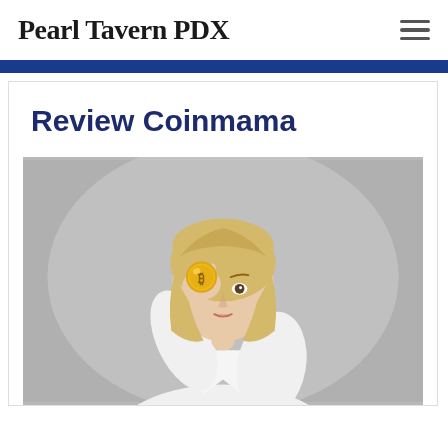Pearl Tavern PDX
Review Coinmama
[Figure (photo): Blonde woman in white shirt holding a gold bitcoin coin up to her eye, against a grey background]